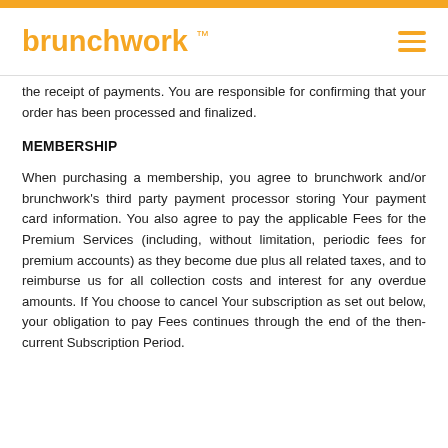brunchwork ™
the receipt of payments. You are responsible for confirming that your order has been processed and finalized.
MEMBERSHIP
When purchasing a membership, you agree to brunchwork and/or brunchwork's third party payment processor storing Your payment card information. You also agree to pay the applicable Fees for the Premium Services (including, without limitation, periodic fees for premium accounts) as they become due plus all related taxes, and to reimburse us for all collection costs and interest for any overdue amounts. If You choose to cancel Your subscription as set out below, your obligation to pay Fees continues through the end of the then-current Subscription Period.